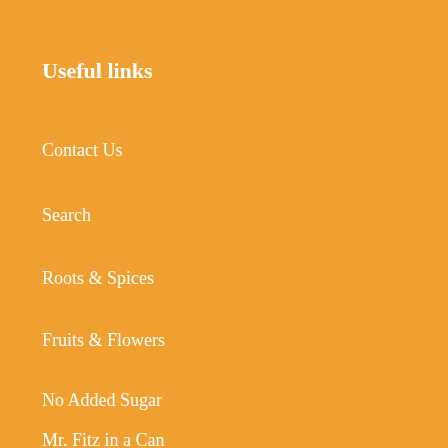Useful links
Contact Us
Search
Roots & Spices
Fruits & Flowers
No Added Sugar
Mr. Fitz in a Can